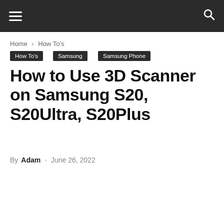≡  🔍
Home › How To's
How To's
Samsung
Samsung Phone
How to Use 3D Scanner on Samsung S20, S20Ultra, S20Plus
By Adam - June 26, 2022